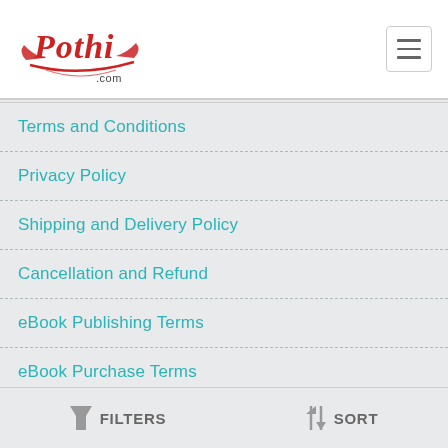Pothi.com navigation header with hamburger menu
Terms and Conditions
Privacy Policy
Shipping and Delivery Policy
Cancellation and Refund
eBook Publishing Terms
eBook Purchase Terms
Writer's Corner
Royalty Calculator
FILTERS    SORT